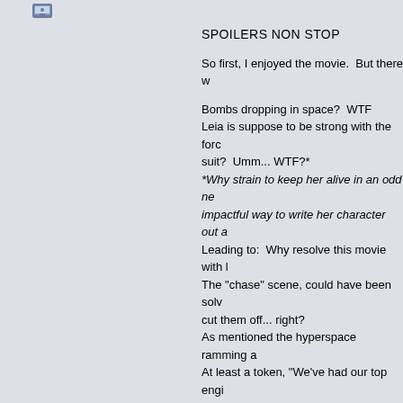[Figure (illustration): Small avatar/profile icon in top left area]
SPOILERS NON STOP
So first, I enjoyed the movie.  But there w
Bombs dropping in space?  WTF
Leia is suppose to be strong with the forc suit?  Umm... WTF?*
*Why strain to keep her alive in an odd ne impactful way to write her character out a Leading to:  Why resolve this movie with l The "chase" scene, could have been solv cut them off... right?
As mentioned the hyperspace ramming a At least a token, "We've had our top engi blah."  Nope!
When slicing a giant ship into two, that ha captives; I'd like to have 3PO run the odds incapacitated other than our 2 heroes.
Oh, and last; I missed it.  WHAT were the scanner doing the tracking, but what were had an implant or something, but he got w commented on the signal moving.